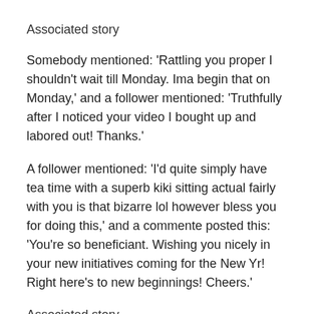Associated story
Somebody mentioned: ‘Rattling you proper I shouldn’t wait till Monday. Ima begin that on Monday,’ and a follower mentioned: ‘Truthfully after I noticed your video I bought up and labored out! Thanks.’
A follower mentioned: ‘I’d quite simply have tea time with a superb kiki sitting actual fairly with you is that bizarre lol however bless you for doing this,’ and a commente posted this: ‘You’re so beneficiant. Wishing you nicely in your new initiatives coming for the New Yr! Right here’s to new beginnings! Cheers.’
Associated story